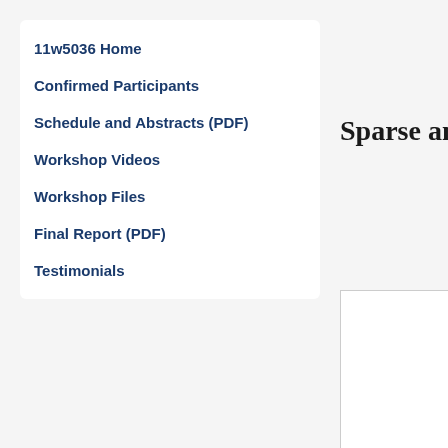11w5036 Home
Confirmed Participants
Schedule and Abstracts (PDF)
Workshop Videos
Workshop Files
Final Report (PDF)
Testimonials
Sparse an